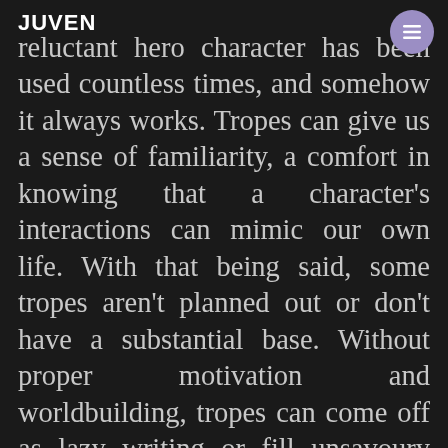JUVEN
reluctant hero character has been used countless times, and somehow it always works. Tropes can give us a sense of familiarity, a comfort in knowing that a character's interactions can mimic our own life. With that being said, some tropes aren't planned out or don't have a substantial base. Without proper motivation and worldbuilding, tropes can come off as lazy writing or fill unsavoury stereotypes. Here are five common tropes in the sci-fi genre and how you as a creator can use them while still creating a memorable story